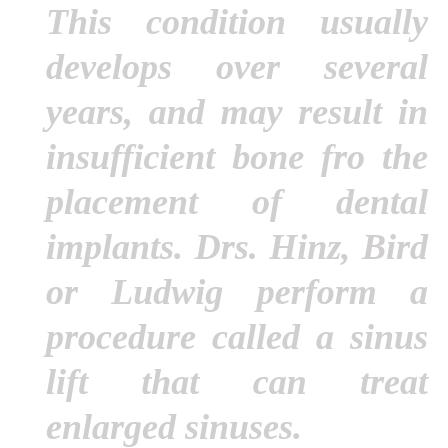This condition usually develops over several years, and may result in insufficient bone fro the placement of dental implants. Drs. Hinz, Bird or Ludwig perform a procedure called a sinus lift that can treat enlarged sinuses.